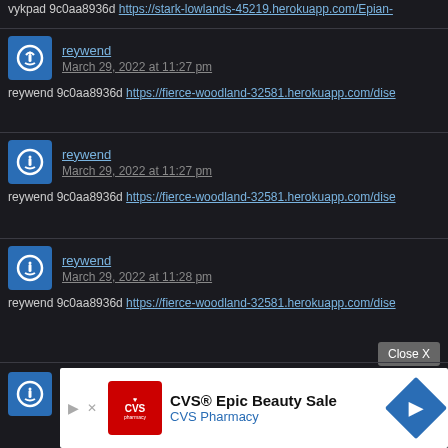vykpad 9c0aa8936d https://stark-lowlands-45219.herokuapp.com/Epian-
reywend
March 29, 2022 at 11:27 pm
reywend 9c0aa8936d https://fierce-woodland-32581.herokuapp.com/dise
reywend
March 29, 2022 at 11:27 pm
reywend 9c0aa8936d https://fierce-woodland-32581.herokuapp.com/dise
reywend
March 29, 2022 at 11:28 pm
reywend 9c0aa8936d https://fierce-woodland-32581.herokuapp.com/dise
[Figure (screenshot): CVS Epic Beauty Sale advertisement banner with CVS Pharmacy logo and navigation arrow]